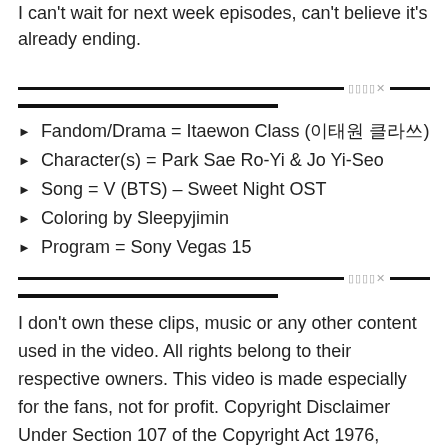I can't wait for next week episodes, can't believe it's already ending.
Fandom/Drama = Itaewon Class (이태원 클라쓰)
Character(s) = Park Sae Ro-Yi & Jo Yi-Seo
Song = V (BTS) – Sweet Night OST
Coloring by Sleepyjimin
Program = Sony Vegas 15
I don't own these clips, music or any other content used in the video. All rights belong to their respective owners. This video is made especially for the fans, not for profit. Copyright Disclaimer Under Section 107 of the Copyright Act 1976, allowance is made for "fair use" for purposes such as criticism, comment, news reporting, teaching,